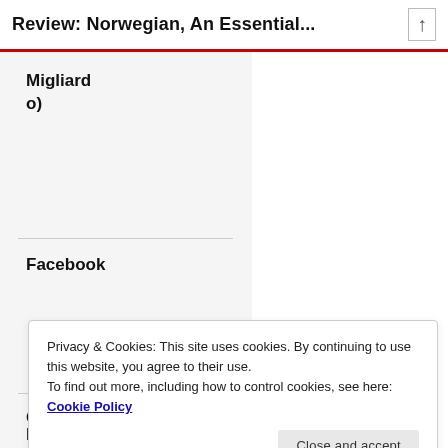Review: Norwegian, An Essential...
Migliardo)
Facebook
Goodread
Privacy & Cookies: This site uses cookies. By continuing to use this website, you agree to their use.
To find out more, including how to control cookies, see here:
Cookie Policy
Close and accept
Hour
School